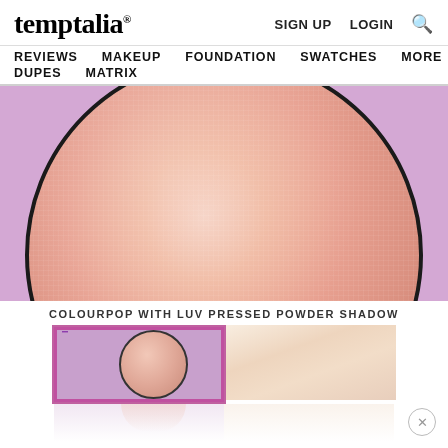temptalia® SIGN UP LOGIN 🔍
REVIEWS  MAKEUP  FOUNDATION  SWATCHES  MORE  DUPES  MATRIX
[Figure (photo): Close-up macro photo of a round pink pressed powder eyeshadow pan against a lavender/pink background. The powder has a fine crosshatch texture and warm peachy-pink color.]
COLOURPOP WITH LUV PRESSED POWDER SHADOW
[Figure (photo): Two thumbnail swatches: left shows the ColourPop With Luv pressed powder pan in its purple packaging, right shows an arm swatch of the peachy-pink powder color.]